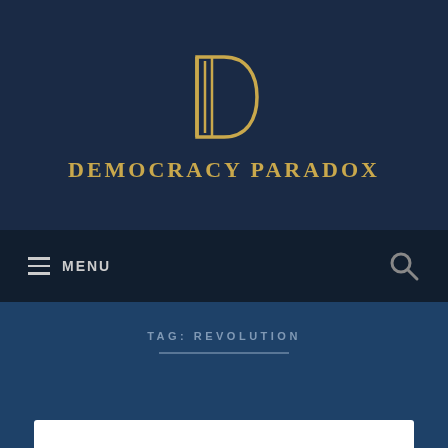[Figure (logo): Democracy Paradox logo — stylized letter D with pillar/column detail inside, gold color on dark navy background]
DEMOCRACY PARADOX
MENU
TAG: REVOLUTION